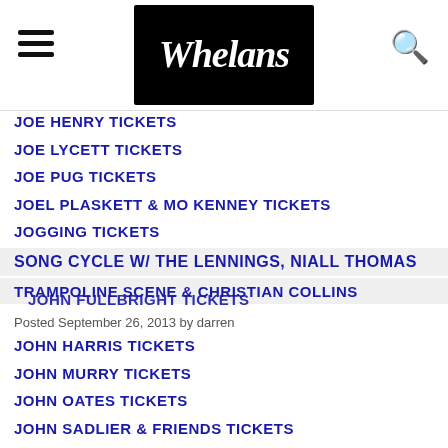Whelans
JOE HENRY TICKETS
JOE LYCETT TICKETS
JOE PUG TICKETS
JOEL PLASKETT & MO KENNEY TICKETS
JOGGING TICKETS
SONG CYCLE W/ THE LENNINGS, NIALL THOMAS
TRAMPOLINE SCENE & CHRISTIAN COLLINS
JOHN FULLBRIGHT TICKETS
Posted September 26, 2013 by darren
JOHN HARRIS TICKETS
JOHN MURRY TICKETS
JOHN OATES TICKETS
JOHN SADLIER & FRIENDS TICKETS
JOHN SMITH TICKETS
JOHN SPILLANE TICKETS
JOHN SPILLANE TICKETS 06/05/2012
JOHN SPILLANE TICKETS 22/04/2012
JOHN SPILLANE TICKETS 29/04/2012
JOHNNY FLYNN & THE SUSSEX WIT TICKETS
JOIN ME IN THE PINES TICKETS